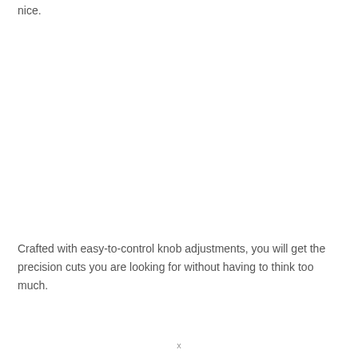nice.
Crafted with easy-to-control knob adjustments, you will get the precision cuts you are looking for without having to think too much.
x